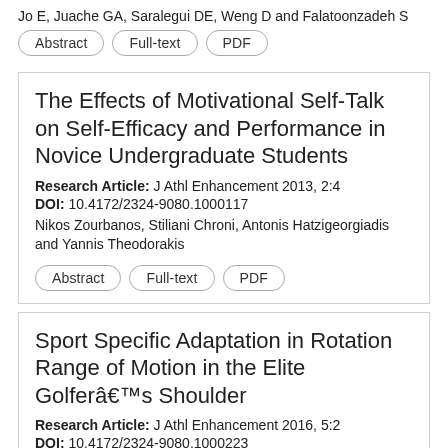Jo E, Juache GA, Saralegui DE, Weng D and Falatoonzadeh S
Abstract | Full-text | PDF
The Effects of Motivational Self-Talk on Self-Efficacy and Performance in Novice Undergraduate Students
Research Article: J Athl Enhancement 2013, 2:4
DOI: 10.4172/2324-9080.1000117
Nikos Zourbanos, Stiliani Chroni, Antonis Hatzigeorgiadis and Yannis Theodorakis
Abstract | Full-text | PDF
Sport Specific Adaptation in Rotation Range of Motion in the Elite Golferâs Shoulder
Research Article: J Athl Enhancement 2016, 5:2
DOI: 10.4172/2324-9080.1000223
Tanya Anne Mackenzie, Lee Herrington, Lenard Funk , Ian Horlsey and Ann Cools
Abstract | Full-text | PDF